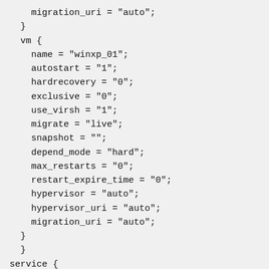migration_uri = "auto";
  }
  vm {
    name = "winxp_01";
    autostart = "1";
    hardrecovery = "0";
    exclusive = "0";
    use_virsh = "1";
    migrate = "live";
    snapshot = "";
    depend_mode = "hard";
    max_restarts = "0";
    restart_expire_time = "0";
    hypervisor = "auto";
    hypervisor_uri = "auto";
    migration_uri = "auto";
  }
  }
service {
  name = "core-02_vms";